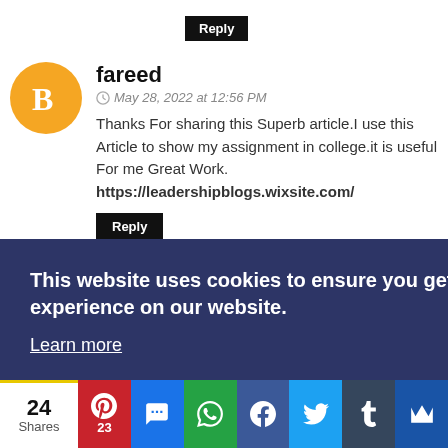Reply
fareed
May 28, 2022 at 12:56 PM
Thanks For sharing this Superb article.I use this Article to show my assignment in college.it is useful For me Great Work. https://leadershipblogs.wixsite.com/
Reply
Anonymous
June 2, 2022 at 12:51 AM
the ins for
This website uses cookies to ensure you get the best experience on our website. Learn more
24 Shares 23